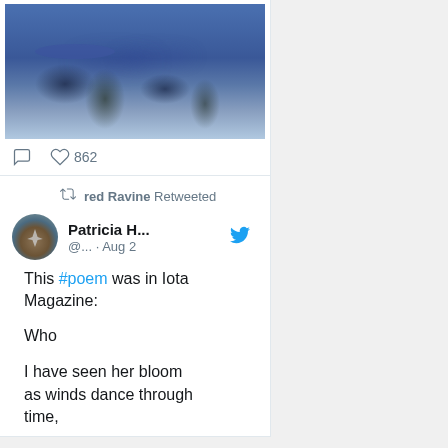[Figure (photo): A painting/artwork showing a blue-toned landscape with water and dark vegetation silhouettes]
862 likes
red Ravine Retweeted
Patricia H... @... · Aug 2
This #poem was in Iota Magazine:

Who

I have seen her bloom
as winds dance through
time,